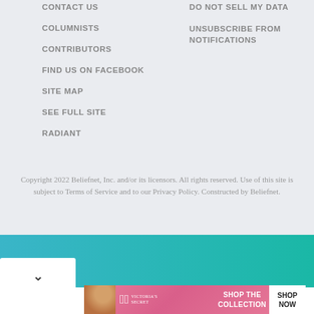CONTACT US
DO NOT SELL MY DATA
COLUMNISTS
UNSUBSCRIBE FROM NOTIFICATIONS
CONTRIBUTORS
FIND US ON FACEBOOK
SITE MAP
SEE FULL SITE
RADIANT
Copyright 2022 Beliefnet, Inc. and/or its licensors. All rights reserved. Use of this site is subject to Terms of Service and to our Privacy Policy. Constructed by Beliefnet.
[Figure (other): Teal gradient bar with white dropdown button showing chevron, and Victoria's Secret advertisement banner with model photo, logo, SHOP THE COLLECTION text, and SHOP NOW button]